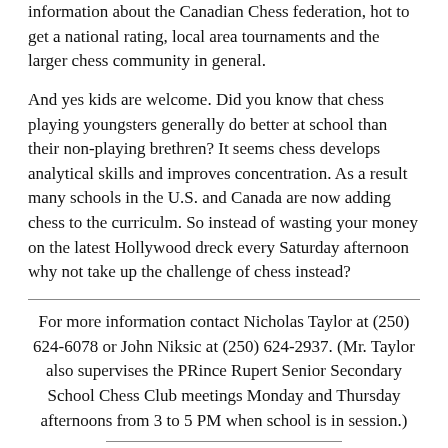information about the Canadian Chess federation, hot to get a national rating, local area tournaments and the larger chess community in general.
And yes kids are welcome. Did you know that chess playing youngsters generally do better at school than their non-playing brethren? It seems chess develops analytical skills and improves concentration. As a result many schools in the U.S. and Canada are now adding chess to the curriculm. So instead of wasting your money on the latest Hollywood dreck every Saturday afternoon why not take up the challenge of chess instead?
For more information contact Nicholas Taylor at (250) 624-6078 or John Niksic at (250) 624-2937. (Mr. Taylor also supervises the PRince Rupert Senior Secondary School Chess Club meetings Monday and Thursday afternoons from 3 to 5 PM when school is in session.)
Prince Rupert Chess Club